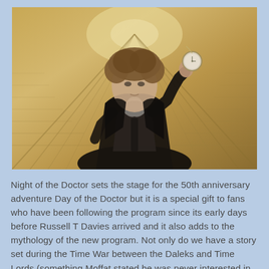[Figure (photo): A man with curly brown hair wearing a black Victorian-style coat and grey cravat, holding up a pocket watch on a chain, standing in front of a grand staircase with warm amber lighting.]
Night of the Doctor sets the stage for the 50th anniversary adventure Day of the Doctor but it is a special gift to fans who have been following the program since its early days before Russell T Davies arrived and it also adds to the mythology of the new program. Not only do we have a story set during the Time War between the Daleks and Time Lords (something Moffat stated he was never interested in